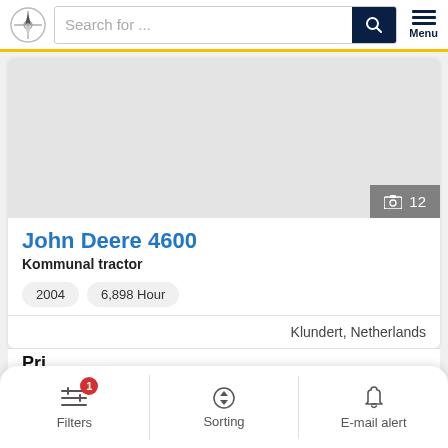Search for ...
[Figure (photo): Gray image placeholder area for John Deere 4600 listing with photo count badge showing 12]
John Deere 4600
Kommunal tractor
2004  6,898 Hour
Klundert, Netherlands
Filters  Sorting  E-mail alert